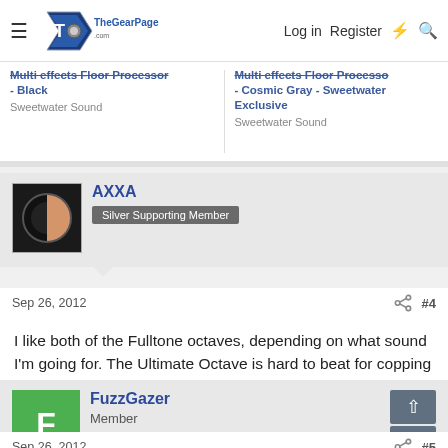The Gear Page — Log in | Register
Multi effects Floor Processor - Black | Sweetwater Sound
Multi effects Floor Processo - Cosmic Gray - Sweetwater Exclusive | Sweetwater Sound
AXXA
Silver Supporting Member
Sep 26, 2012  #4
I like both of the Fulltone octaves, depending on what sound I'm going for. The Ultimate Octave is hard to beat for copping Homme riffs. Good job on the recording btw!
FuzzGazer
Member
Sep 26, 2012  #5